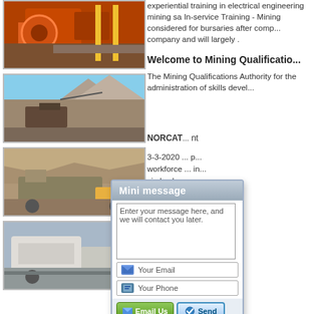[Figure (photo): Mining machinery - orange crusher equipment]
[Figure (photo): Mining site with excavation equipment and mountains in background]
[Figure (photo): Large mobile crushing/screening plant on tracks with orange stripe]
[Figure (photo): White mining machinery/crusher equipment]
experiential training in electrical engineering mining sa In-service Training - Mining considered for bursaries after comp... company and will largely .
Welcome to Mining Qualificatio...
The Mining Qualifications Authority for the administration of skills devel...
NORCAT... nt
3-3-2020 ... p... workforce ... in... circle che... ero...
Experien... de...
Experiential training... P... in Scotlan... m...
[Figure (screenshot): Mini message popup dialog with textarea for entering message, Email field, Phone field, and Email Us / Send buttons]